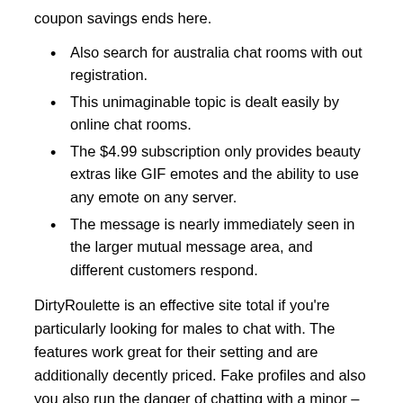coupon savings ends here.
Also search for australia chat rooms with out registration.
This unimaginable topic is dealt easily by online chat rooms.
The $4.99 subscription only provides beauty extras like GIF emotes and the ability to use any emote on any server.
The message is nearly immediately seen in the larger mutual message area, and different customers respond.
DirtyRoulette is an effective site total if you’re particularly looking for males to chat with. The features work great for their setting and are additionally decently priced. Fake profiles and also you also run the danger of chatting with a minor – contemplating the prevalent subjects on the positioning. Prime, you get all of that and extra, together with choices to create a nickname and additional personalization of your profile. PalTalk is likely one of the finest locations for group chats if you like communal events.